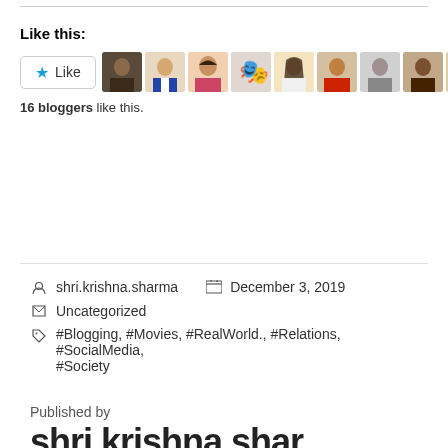Like this:
[Figure (other): Like button and 10 blogger avatar photos in a horizontal strip]
16 bloggers like this.
shri.krishna.sharma   December 3, 2019
Uncategorized
#Blogging, #Movies, #RealWorld., #Relations, #SocialMedia, #Society
Published by
shri.krishna.sharma